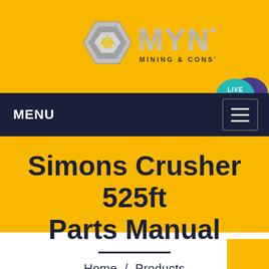[Figure (logo): MYNT Mining & Construction logo with metallic diamond/chevron graphic and stylized MYNT text]
MENU
[Figure (other): Live Chat bubble icon in teal/purple]
Simons Crusher 525ft Parts Manual
Home / Products